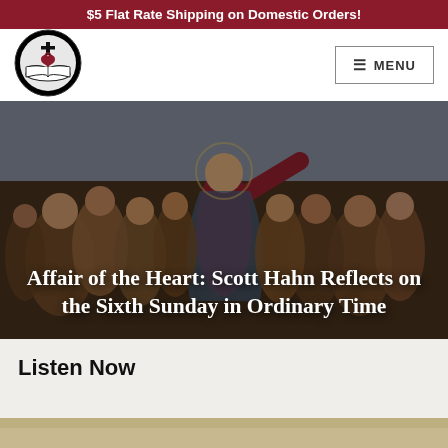$5 Flat Rate Shipping on Domestic Orders!
[Figure (logo): Catholic book logo with cross, heart and open bible in black and white circle]
≡ MENU
[Figure (photo): Painting of Jesus in red robe with arm raised, surrounded by crowd of followers]
Affair of the Heart: Scott Hahn Reflects on the Sixth Sunday in Ordinary Time
Listen Now
[Figure (photo): Partial bottom image, muted earth tones]